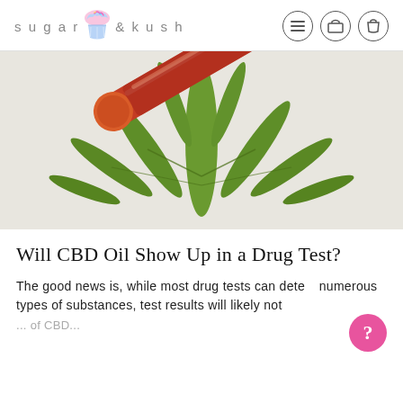sugar & kush
[Figure (photo): A cannabis/marijuana leaf with a blood collection tube (test tube with red cap) containing blood, placed on a white background. The image relates to CBD oil and drug testing.]
Will CBD Oil Show Up in a Drug Test?
The good news is, while most drug tests can detect numerous types of substances, test results will likely not ... of CBD...